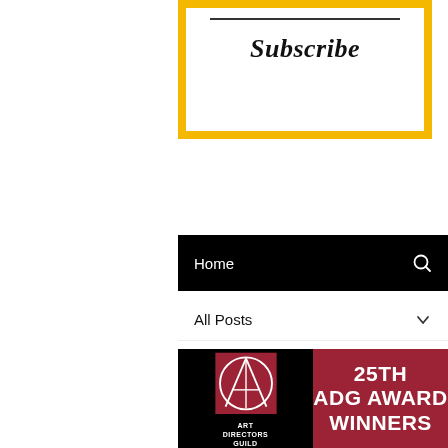[Figure (screenshot): Subscribe button UI element with gold/yellow border on white background, showing a horizontal rule above italic bold 'Subscribe' text]
[Figure (screenshot): Navigation bar with black background showing 'Home' text on left and search icon on right]
[Figure (screenshot): All Posts dropdown filter with chevron/down arrow on right]
[Figure (screenshot): 25th ADG Award Winners promotional image split between black left side with Art Directors Guild logo and dark red right side with bold white text '25TH ADG AWARD WINNERS']